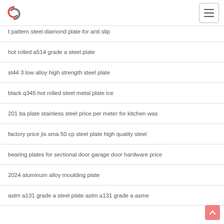Logo and navigation menu
t pattern steel diamond plate for anti slip
hot rolled a514 grade a steel plate
st44 3 low alloy high strength steel plate
black q345 hot rolled steel metal plate ice
201 ba plate stainless steel price per meter for kitchen was
factory price jis sma 50 cp steel plate high quality steel
bearing plates for sectional door garage door hardware price
2024 aluminum alloy moulding plate
astm a131 grade a steel plate astm a131 grade a asme